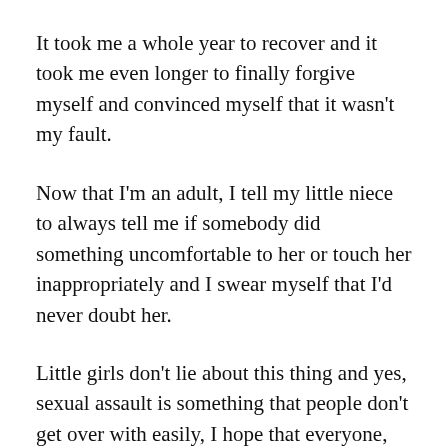It took me a whole year to recover and it took me even longer to finally forgive myself and convinced myself that it wasn't my fault.
Now that I'm an adult, I tell my little niece to always tell me if somebody did something uncomfortable to her or touch her inappropriately and I swear myself that I'd never doubt her.
Little girls don't lie about this thing and yes, sexual assault is something that people don't get over with easily, I hope that everyone, especially law enforcers, realizes this and work harder to prevent this bad thing happen to anyone